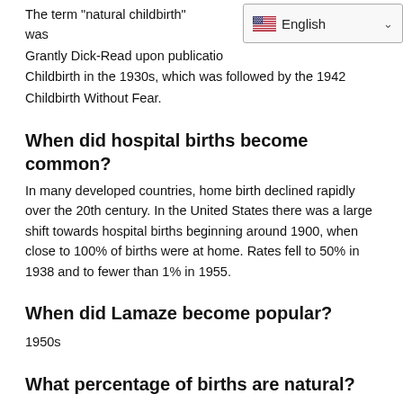The term 'natural childbirth' was Grantly Dick-Read upon publication Childbirth in the 1930s, which was followed by the 1942 Childbirth Without Fear.
[Figure (screenshot): Language selector dropdown showing English with US flag]
When did hospital births become common?
In many developed countries, home birth declined rapidly over the 20th century. In the United States there was a large shift towards hospital births beginning around 1900, when close to 100% of births were at home. Rates fell to 50% in 1938 and to fewer than 1% in 1955.
When did Lamaze become popular?
1950s
What percentage of births are natural?
A unmedicated, natural childbirth is an entirely achievable and reasonable goal for about 85 percent of pregnant women. The other 15 percent have health complications that